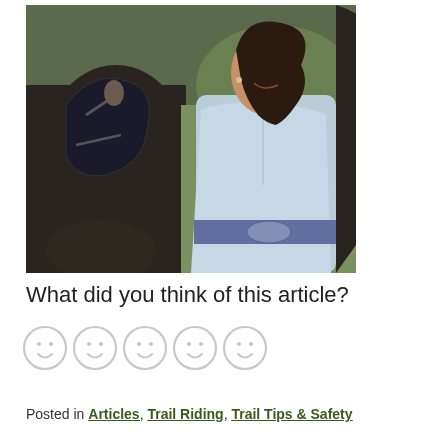[Figure (photo): A woman in a light blue long-sleeve top and decorative belt stands close to a dark horse, smiling and looking at the horse. Outdoor setting with greenery in the background.]
What did you think of this article?
[Figure (illustration): Five smiley face emoji icons in a row, each outlined in light gray, representing a rating scale.]
Posted in Articles, Trail Riding, Trail Tips & Safety